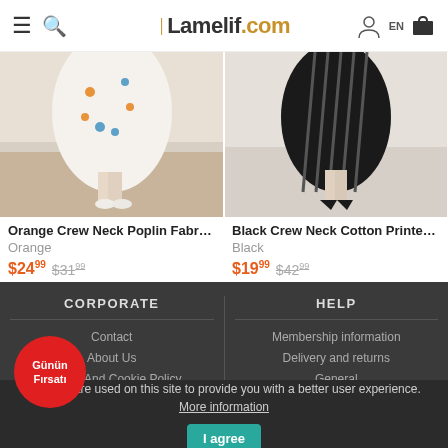Lamelif.com — EN
[Figure (photo): Product photo: woman wearing orange floral dress with white heels]
Orange Crew Neck Poplin Fabric P...
Orange
$24.99  $31.99
[Figure (photo): Product photo: woman wearing black striped dress with black heels]
Black Crew Neck Cotton Printed Dr...
Black
$19.99  $42.99
CORPORATE
HELP
Contact
About Us
Privacy And Cookie Policy
Personal Data Protection Policy
Terms of use
Membership information
Delivery and returns
General
Günün Fırsatı
Cookies are used on this site to provide you with a better user experience. More information  I agree